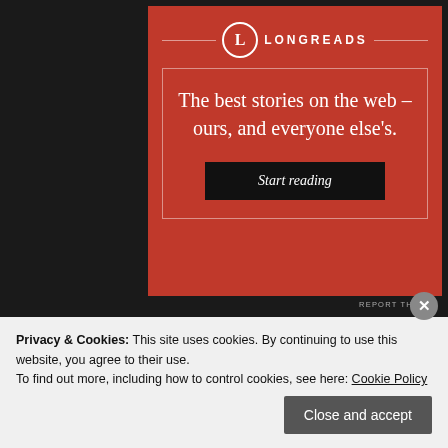[Figure (advertisement): Longreads advertisement on dark background. Red background ad box with Longreads logo (circle with L), tagline 'The best stories on the web – ours, and everyone else's.' and a black 'Start reading' button. Inner white border rectangle frames the content.]
REPORT THIS AD
Search Website
Privacy & Cookies: This site uses cookies. By continuing to use this website, you agree to their use.
To find out more, including how to control cookies, see here: Cookie Policy
Close and accept